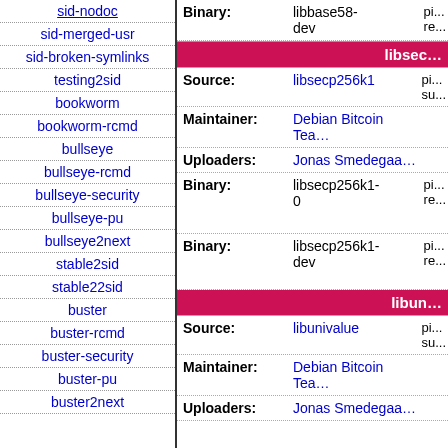sid-nodoc
sid-merged-usr
sid-broken-symlinks
testing2sid
bookworm
bookworm-rcmd
bullseye
bullseye-rcmd
bullseye-security
bullseye-pu
bullseye2next
stable2sid
stable22sid
buster
buster-rcmd
buster-security
buster-pu
buster2next
| Field | Value | Extra |
| --- | --- | --- |
| Binary: | libbase58-dev | pi... re... |
| libsecp... |  |  |
| Source: | libsecp256k1 | pi... su... |
| Maintainer: | Debian Bitcoin Tea... |  |
| Uploaders: | Jonas Smedegaa... |  |
| Binary: | libsecp256k1-0 | pi... re... |
| Binary: | libsecp256k1-dev | pi... re... |
| libun... |  |  |
| Source: | libunivalue | pi... su... |
| Maintainer: | Debian Bitcoin Tea... |  |
| Uploaders: | Jonas Smedegaa... |  |